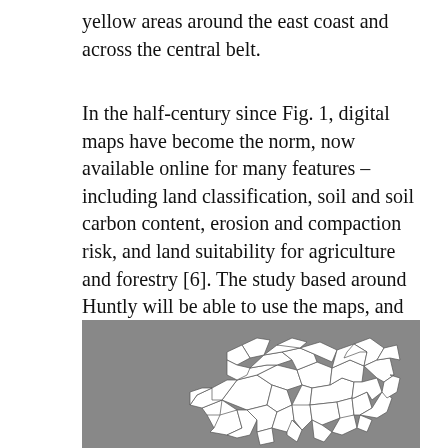yellow areas around the east coast and across the central belt.
In the half-century since Fig. 1, digital maps have become the norm, now available online for many features – including land classification, soil and soil carbon content, erosion and compaction risk, and land suitability for agriculture and forestry [6]. The study based around Huntly will be able to use the maps, and the data behind the maps.
[Figure (map): A map showing land parcel boundaries around Huntly area, displayed as white outlined polygons on a grey background, forming a dense cluster of irregular field and land unit shapes.]